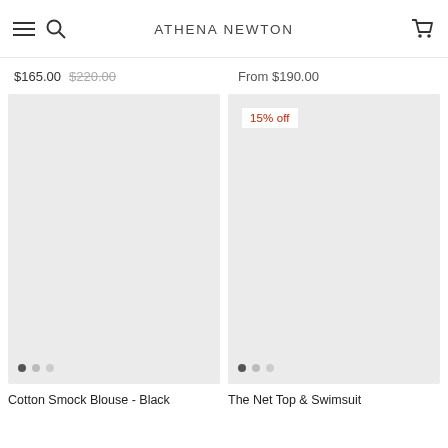ATHENA NEWTON
$165.00  $220.00   From $190.00
[Figure (photo): Product image placeholder - Cotton Smock Blouse Black, light grey background]
[Figure (photo): Product image placeholder - The Net Top & Swimsuit, light grey background with 15% off badge]
Cotton Smock Blouse - Black
The Net Top & Swimsuit